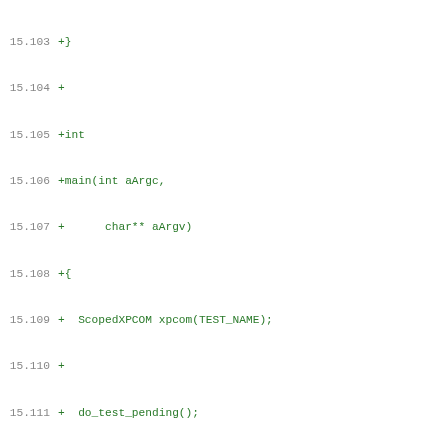Code diff showing lines 15.103-16.3 with added lines in green and file mode/path lines in black and red.